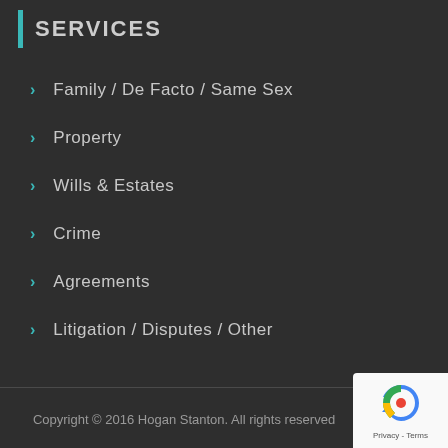SERVICES
Family / De Facto / Same Sex
Property
Wills & Estates
Crime
Agreements
Litigation / Disputes / Other
Copyright © 2016 Hogan Stanton. All rights reserved